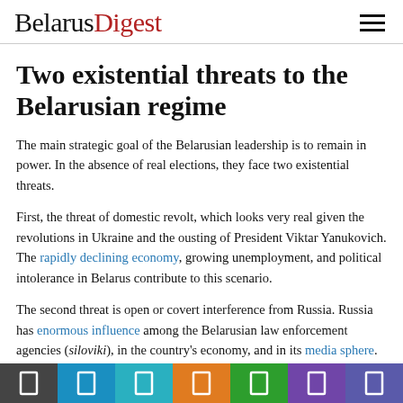BelarusDigest
Two existential threats to the Belarusian regime
The main strategic goal of the Belarusian leadership is to remain in power. In the absence of real elections, they face two existential threats.
First, the threat of domestic revolt, which looks very real given the revolutions in Ukraine and the ousting of President Viktar Yanukovich. The rapidly declining economy, growing unemployment, and political intolerance in Belarus contribute to this scenario.
The second threat is open or covert interference from Russia. Russia has enormous influence among the Belarusian law enforcement agencies (siloviki), in the country's economy, and in its media sphere. To appease Russia, Belarusian authorities like to emphasise that Belarus is its only real ally to the West of its borders. But economic pressure from Russia, pressure